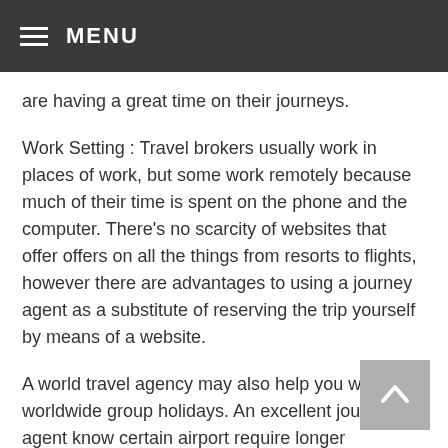MENU
are having a great time on their journeys.
Work Setting : Travel brokers usually work in places of work, but some work remotely because much of their time is spent on the phone and the computer. There’s no scarcity of websites that offer offers on all the things from resorts to flights, however there are advantages to using a journey agent as a substitute of reserving the trip yourself by means of a website.
A world travel agency may also help you with worldwide group holidays. An excellent journey agent know certain airport require longer connection instances than others to forestall issues. After the commission cuts, many travel